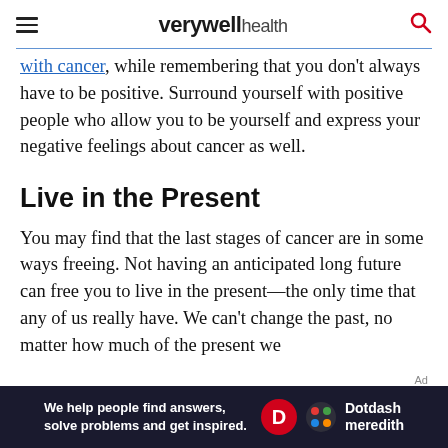verywell health
with cancer, while remembering that you don't always have to be positive. Surround yourself with positive people who allow you to be yourself and express your negative feelings about cancer as well.
Live in the Present
You may find that the last stages of cancer are in some ways freeing. Not having an anticipated long future can free you to live in the present—the only time that any of us really have. We can't change the past, no matter how much of the present we
[Figure (other): Advertisement banner: 'We help people find answers, solve problems and get inspired.' with Dotdash Meredith logo]